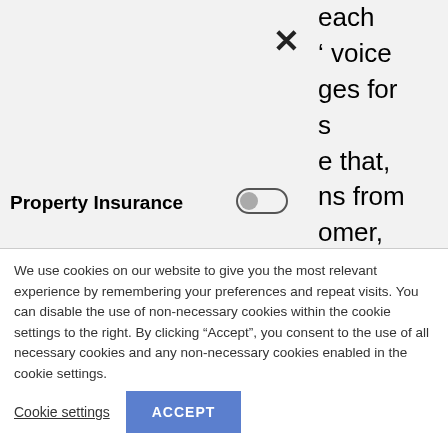[Figure (screenshot): Cookie settings overlay panel with toggle switches for Property Insurance, Products, and Partners categories, with an X close button and partially visible text on the right side]
We use cookies on our website to give you the most relevant experience by remembering your preferences and repeat visits. You can disable the use of non-necessary cookies within the cookie settings to the right. By clicking “Accept”, you consent to the use of all necessary cookies and any non-necessary cookies enabled in the cookie settings.
Cookie settings
ACCEPT